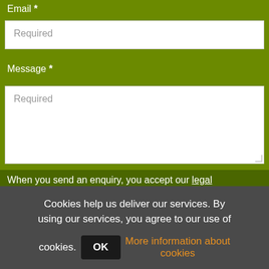Email *
Required
Message *
Required
When you send an enquiry, you accept our legal advice & privacy policy
Cookies help us deliver our services. By using our services, you agree to our use of cookies.
OK
More information about cookies